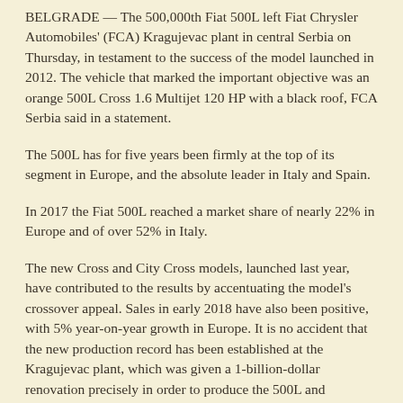BELGRADE — The 500,000th Fiat 500L left Fiat Chrysler Automobiles' (FCA) Kragujevac plant in central Serbia on Thursday, in testament to the success of the model launched in 2012. The vehicle that marked the important objective was an orange 500L Cross 1.6 Multijet 120 HP with a black roof, FCA Serbia said in a statement.
The 500L has for five years been firmly at the top of its segment in Europe, and the absolute leader in Italy and Spain.
In 2017 the Fiat 500L reached a market share of nearly 22% in Europe and of over 52% in Italy.
The new Cross and City Cross models, launched last year, have contributed to the results by accentuating the model's crossover appeal. Sales in early 2018 have also been positive, with 5% year-on-year growth in Europe. It is no accident that the new production record has been established at the Kragujevac plant, which was given a 1-billion-dollar renovation precisely in order to produce the 500L and reopened in April 2012. Today it is one of the most modern FCA plants in the world, FCA Serbia said.
— Hat tip: Insubria   [Return to headlines]